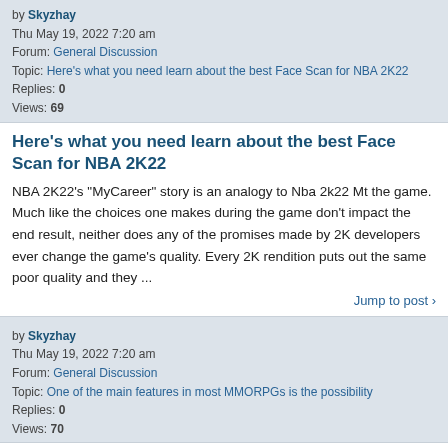by Skyzhay
Thu May 19, 2022 7:20 am
Forum: General Discussion
Topic: Here's what you need learn about the best Face Scan for NBA 2K22
Replies: 0
Views: 69
Here's what you need learn about the best Face Scan for NBA 2K22
NBA 2K22's "MyCareer" story is an analogy to Nba 2k22 Mt the game. Much like the choices one makes during the game don't impact the end result, neither does any of the promises made by 2K developers ever change the game's quality. Every 2K rendition puts out the same poor quality and they ...
Jump to post ›
by Skyzhay
Thu May 19, 2022 7:20 am
Forum: General Discussion
Topic: One of the main features in most MMORPGs is the possibility
Replies: 0
Views: 70
One of the main features in most MMORPGs is the possibility
It's unclear if players will be able to Lost Ark Gold choose different races for every class in the future, since the developer hasn't yet made any announcements regarding the matter. One of the main features in most MMORPGs is the possibility to do things with friends in-game, and guilds